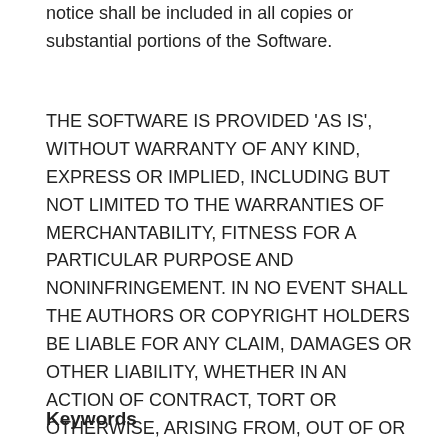notice shall be included in all copies or substantial portions of the Software.
THE SOFTWARE IS PROVIDED 'AS IS', WITHOUT WARRANTY OF ANY KIND, EXPRESS OR IMPLIED, INCLUDING BUT NOT LIMITED TO THE WARRANTIES OF MERCHANTABILITY, FITNESS FOR A PARTICULAR PURPOSE AND NONINFRINGEMENT. IN NO EVENT SHALL THE AUTHORS OR COPYRIGHT HOLDERS BE LIABLE FOR ANY CLAIM, DAMAGES OR OTHER LIABILITY, WHETHER IN AN ACTION OF CONTRACT, TORT OR OTHERWISE, ARISING FROM, OUT OF OR IN CONNECTION WITH THE SOFTWARE OR THE USE OR OTHER DEALINGS IN THE SOFTWARE.
Keywords